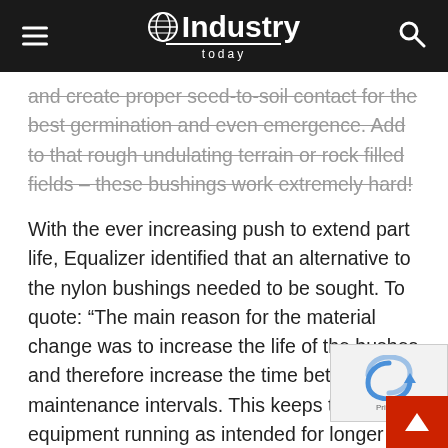Industry Today
and create proper seed-to-soil contact for the best germination and even emergence. Add to that rough undulating terrain or rock filled fields – these bushings work extremely hard!
With the ever increasing push to extend part life, Equalizer identified that an alternative to the nylon bushings needed to be sought. To quote: “The main reason for the material change was to increase the life of the bushes and therefore increase the time between maintenance intervals. This keeps the equipment running as intended for longer especially on larger farm setups due to the fact that mid-season maintenance is not feasible with the narrow planting windows. The other advantage of increased bush life is a reduction in maintenance